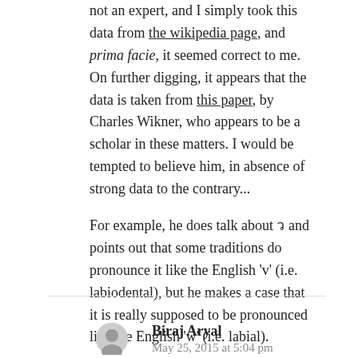not an expert, and I simply took this data from the wikipedia page, and prima facie, it seemed correct to me. On further digging, it appears that the data is taken from this paper, by Charles Wikner, who appears to be a scholar in these matters. I would be tempted to believe him, in absence of strong data to the contrary...
For example, he does talk about ว and points out that some traditions do pronounce it like the English 'v' (i.e. labiodental), but he makes a case that it is really supposed to be pronounced like the English 'w' (i.e. labial).
REPLY
Biraj Aryal
May 25, 2015 at 5:04 pm